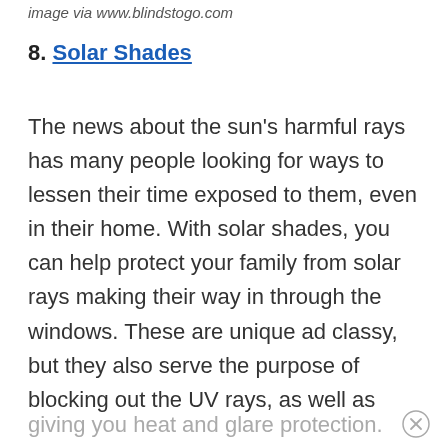image via www.blindstogo.com
8. Solar Shades
The news about the sun's harmful rays has many people looking for ways to lessen their time exposed to them, even in their home. With solar shades, you can help protect your family from solar rays making their way in through the windows. These are unique ad classy, but they also serve the purpose of blocking out the UV rays, as well as
giving you heat and glare protection.